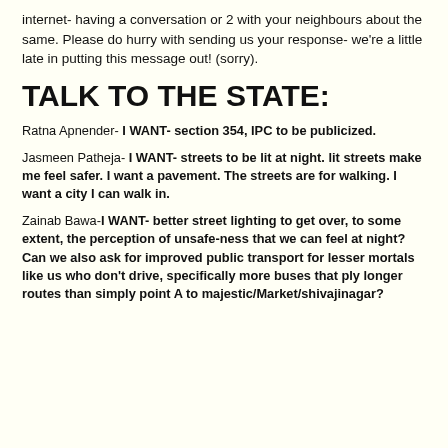internet- having a conversation or 2 with your neighbours about the same. Please do hurry with sending us your response- we're a little late in putting this message out! (sorry).
TALK TO THE STATE:
Ratna Apnender- I WANT- section 354, IPC to be publicized.
Jasmeen Patheja- I WANT- streets to be lit at night. lit streets make me feel safer. I want a pavement. The streets are for walking. I want a city I can walk in.
Zainab Bawa- I WANT- better street lighting to get over, to some extent, the perception of unsafe-ness that we can feel at night? Can we also ask for improved public transport for lesser mortals like us who don't drive, specifically more buses that ply longer routes than simply point A to majestic/Market/shivajinagar?